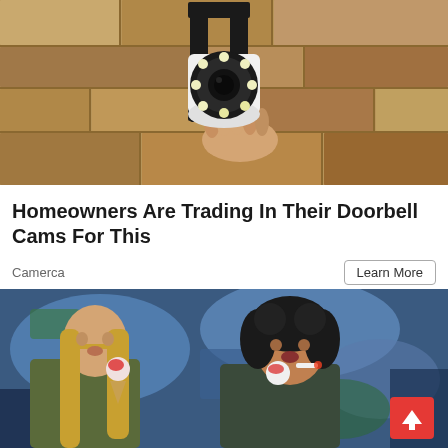[Figure (photo): A hand installing a white security camera with LED ring onto a bracket mounted on a rough stone/stucco wall. The camera has a circular LED array and is held in a black metal mount.]
Homeowners Are Trading In Their Doorbell Cams For This
Camerca
Learn More
[Figure (photo): Two young women standing in front of a colorful graffiti wall. The woman on the left has long blonde hair and holds an ice cream cone. The woman on the right has dark curly hair. A red scroll-to-top button is visible in the bottom right corner.]